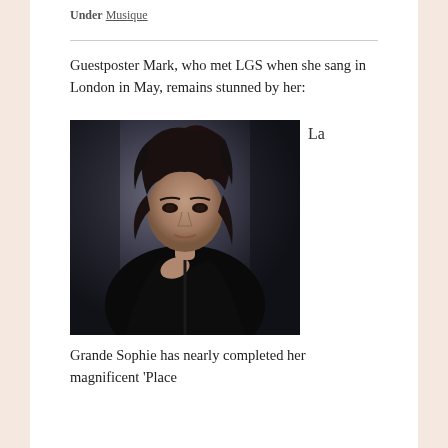Under Musique
Guestposter Mark, who met LGS when she sang in London in May, remains stunned by her:
[Figure (photo): A dark portrait photograph of a woman with curly dark hair wearing a black outfit, photographed against a dark background. She is looking directly at the camera with an intense expression.]
La
Grande Sophie has nearly completed her magnificent ‘Place